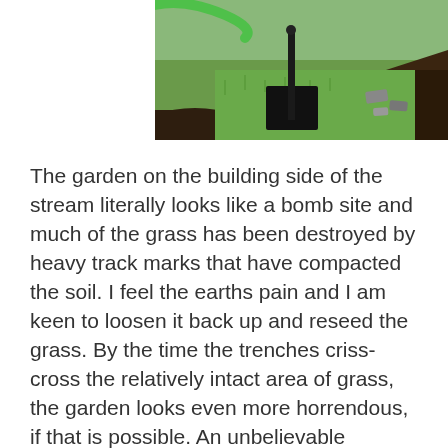[Figure (photo): Outdoor garden photo showing grass with a black square irrigation or utility box, a green hose, a dark pole, and disturbed soil/dirt patches around the edges.]
The garden on the building side of the stream literally looks like a bomb site and much of the grass has been destroyed by heavy track marks that have compacted the soil. I feel the earths pain and I am keen to loosen it back up and reseed the grass. By the time the trenches criss-cross the relatively intact area of grass, the garden looks even more horrendous, if that is possible. An unbelievable amount of rubbish comes up out of the trench; broken bricks, glass, crocks, flints and quite a few more bottles. We sometimes wonder if our garden was